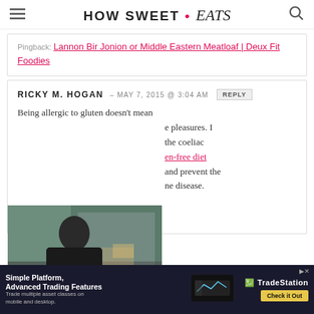HOW SWEET • eats
Pingback: Lannon Bir Jonion or Middle Eastern Meatloaf | Deux Fit Foodies
RICKY M. HOGAN – MAY 7, 2015 @ 3:04 AM REPLY
Being allergic to gluten doesn't mean giving up life's pleasures. I recommend reading the coeliac treatment guidelines. gluten-free diet and prevent the symptoms of the disease.
[Figure (screenshot): Video overlay showing a person in a kitchen, with text 'Shedeur Sanders SON']
[Figure (screenshot): Advertisement banner: Simple Platform, Advanced Trading Features. Trade multiple asset classes on mobile and desktop. TradeStation. Check it Out.]